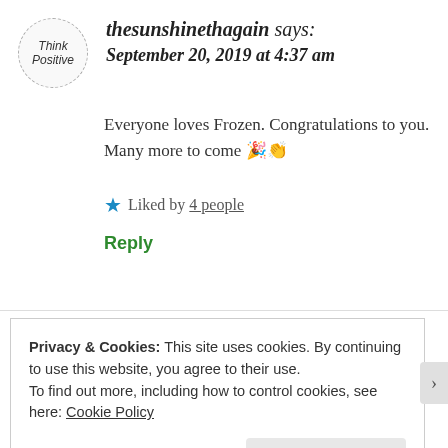[Figure (illustration): Circular avatar with dashed border containing stylized text 'Think Positive' in script font]
thesunshinethagain says:
September 20, 2019 at 4:37 am
Everyone loves Frozen. Congratulations to you. Many more to come 🎉👏
★ Liked by 4 people
Reply
Privacy & Cookies: This site uses cookies. By continuing to use this website, you agree to their use.
To find out more, including how to control cookies, see here: Cookie Policy
Close and accept